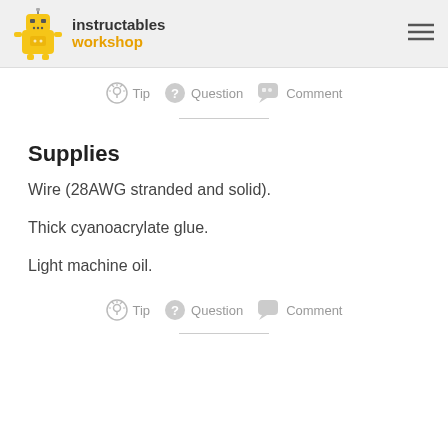instructables workshop
[Figure (illustration): Instructables robot mascot logo - yellow robot figure]
Tip   Question   Comment
Supplies
Wire (28AWG stranded and solid).
Thick cyanoacrylate glue.
Light machine oil.
Tip   Question   Comment